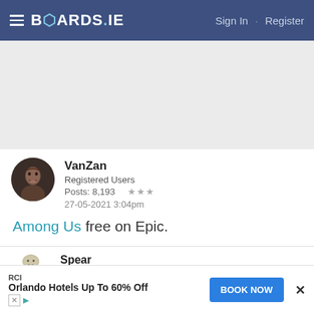BOARDS.IE  Sign In · Register
[Figure (other): Gray advertisement banner area]
VanZan
Registered Users
Posts: 8,193 ★★★
27-05-2021 3:04pm
Among Us free on Epic.
Spear
Moderators, Computer Games Moderators, Technology & Internet Moderators, Help & Feedback Category Moderators
RCI
Orlando Hotels Up To 60% Off  BOOK NOW